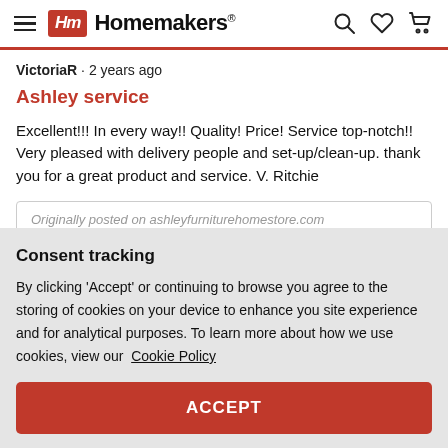Homemakers
VictoriaR · 2 years ago
Ashley service
Excellent!!! In every way!! Quality! Price! Service top-notch!! Very pleased with delivery people and set-up/clean-up. thank you for a great product and service. V. Ritchie
Originally posted on ashleyfurniturehomestore.com
Consent tracking
By clicking 'Accept' or continuing to browse you agree to the storing of cookies on your device to enhance you site experience and for analytical purposes. To learn more about how we use cookies, view our Cookie Policy
ACCEPT